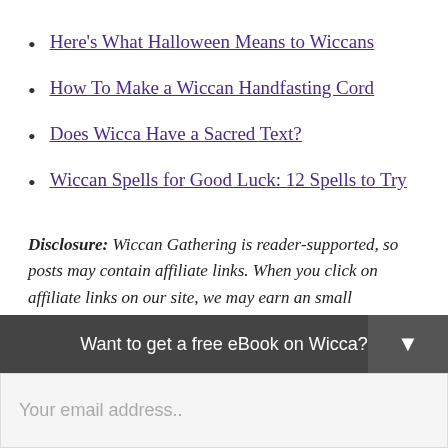Here's What Halloween Means to Wiccans
How To Make a Wiccan Handfasting Cord
Does Wicca Have a Sacred Text?
Wiccan Spells for Good Luck: 12 Spells to Try
Disclosure: Wiccan Gathering is reader-supported, so posts may contain affiliate links. When you click on affiliate links on our site, we may earn an small commission, at zero cost to you. If you enjoyed our content and want to pay it forward (even if you don
Want to get a free eBook on Wicca?
Your email address..